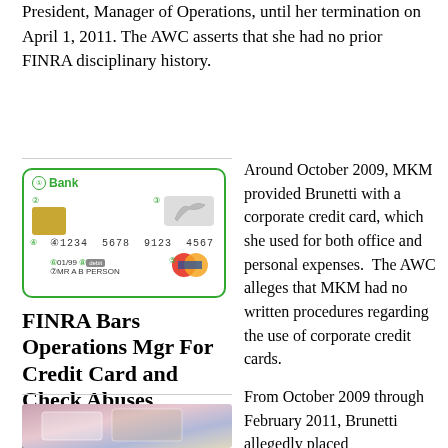President, Manager of Operations, until her termination on April 1, 2011. The AWC asserts that she had no prior FINRA disciplinary history.
[Figure (illustration): Illustration of a bank credit card with chip, card number 1234 5678 9123 4567, expiry 01/99, cardholder MR A B PERSON, Mastercard logo, and a bird/heron watermark graphic.]
FINRA Bars Operations Mgr For Credit Card and Check Abuses
Bill Singer
Contributor
[Figure (photo): Partial photo of credit cards, colorful background.]
Around October 2009, MKM provided Brunetti with a corporate credit card, which she used for both office and personal expenses.  The AWC alleges that MKM had no written procedures regarding the use of corporate credit cards.
From October 2009 through February 2011, Brunetti allegedly placed approximately $21,000 in personal expenses on the card, against which she paid about